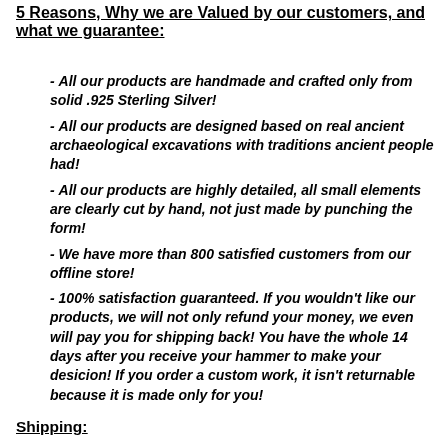5 Reasons, Why we are Valued by our customers, and what we guarantee:
- All our products are handmade and crafted only from solid .925 Sterling Silver!
- All our products are designed based on real ancient archaeological excavations with traditions ancient people had!
- All our products are highly detailed, all small elements are clearly cut by hand, not just made by punching the form!
- We have more than 800 satisfied customers from our offline store!
- 100% satisfaction guaranteed. If you wouldn't like our products, we will not only refund your money, we even will pay you for shipping back! You have the whole 14 days after you receive your hammer to make your desicion! If you order a custom work, it isn't returnable because it is made only for you!
Shipping: